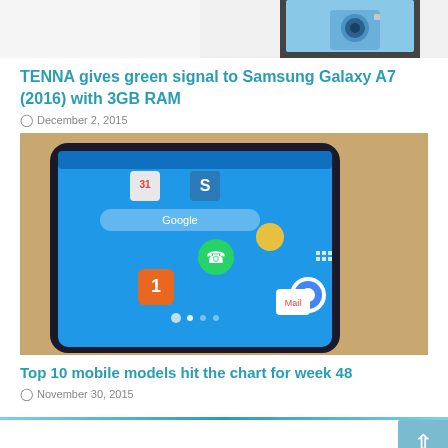[Figure (photo): Partial top view of a smartphone showing camera area, cropped at top of page]
TENNA gives green signal to Samsung Galaxy A7 (2016) with 3GB RAM
December 2, 2015
[Figure (photo): Samsung Galaxy smartphone showing Android home screen with apps including WhatsApp, Kontakte, Google Chrome, E-Mail, and other icons on a blue background]
Top 10 mobile models hit the chart for week 48
November 30, 2015
LEAVE A REPLY